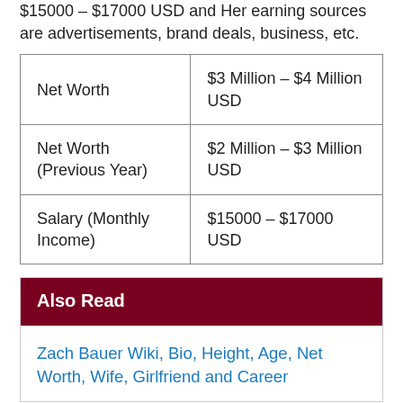$15000 – $17000 USD and Her earning sources are advertisements, brand deals, business, etc.
| Net Worth | $3 Million – $4 Million USD |
| Net Worth (Previous Year) | $2 Million – $3 Million USD |
| Salary (Monthly Income) | $15000 – $17000 USD |
Also Read
Zach Bauer Wiki, Bio, Height, Age, Net Worth, Wife, Girlfriend and Career